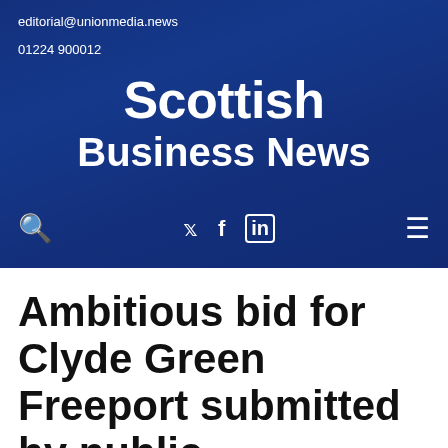editorial@unionmedia.news
01224 900012
Scottish Business News
Ambitious bid for Clyde Green Freeport submitted by public-